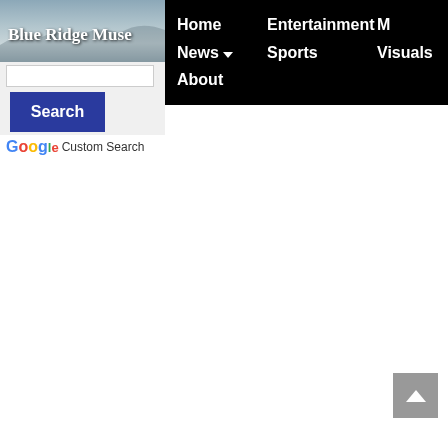[Figure (logo): Blue Ridge Muse website logo with mountain/sky background]
Home  Entertainment  M  News ▼  Sports  Visuals  About
[Figure (screenshot): Search box input field]
Search
Google Custom Search